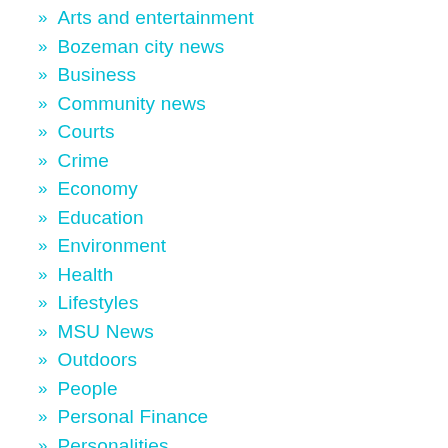Arts and entertainment
Bozeman city news
Business
Community news
Courts
Crime
Economy
Education
Environment
Health
Lifestyles
MSU News
Outdoors
People
Personal Finance
Personalities